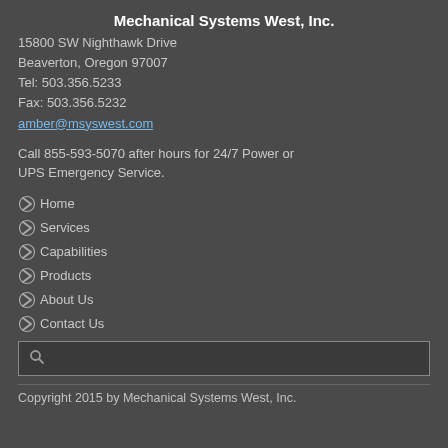Mechanical Systems West, Inc.
15800 SW Nighthawk Drive
Beaverton, Oregon 97007
Tel: 503.356.5233
Fax: 503.356.5232
amber@msyswest.com
Call 855-593-5070 after hours for 24/7 Power or UPS Emergency Service.
Home
Services
Capabilities
Products
About Us
Contact Us
Copyright 2015 by Mechanical Systems West, Inc.